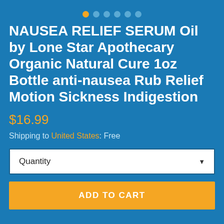[Figure (other): Carousel navigation dots, one orange (active) and five blue]
NAUSEA RELIEF SERUM Oil by Lone Star Apothecary Organic Natural Cure 1oz Bottle anti-nausea Rub Relief Motion Sickness Indigestion
$16.99
Shipping to United States: Free
Quantity
ADD TO CART